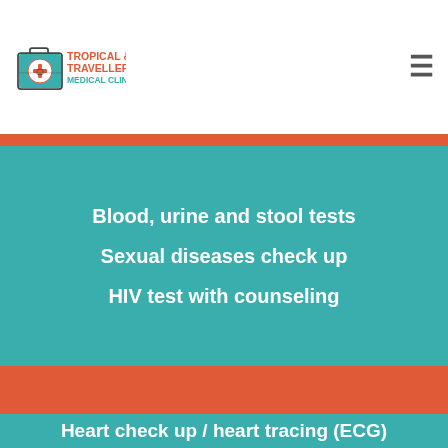[Figure (logo): Tropical & Travellers Medical Clinic logo with a medical briefcase icon and text]
Blood, urine and stool tests
Sexual diseases check up
HIV test with counseling
Pregnancy test
Monthly antenatal check ups
Emergency contraception pill
Heart check up / heart tracing (ECG)